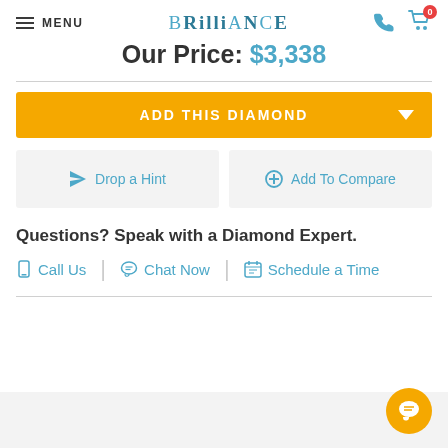MENU | BRILLIANCE | (phone icon) (cart icon with 0)
Our Price: $3,338
ADD THIS DIAMOND
Drop a Hint
Add To Compare
Questions? Speak with a Diamond Expert.
Call Us | Chat Now | Schedule a Time